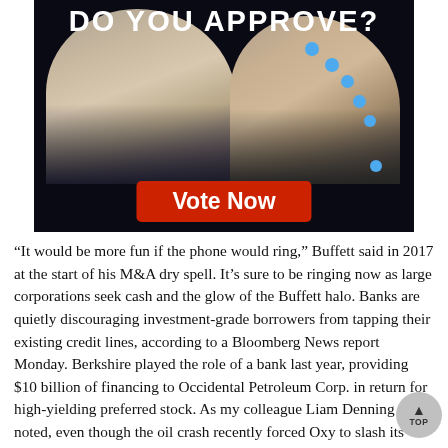[Figure (photo): Political ad image showing two people on a dark background with blue dots, with title 'DO YOU APPROVE?' at top and a red 'Vote Now' button at bottom]
“It would be more fun if the phone would ring,” Buffett said in 2017 at the start of his M&A dry spell. It’s sure to be ringing now as large corporations seek cash and the glow of the Buffett halo. Banks are quietly discouraging investment-grade borrowers from tapping their existing credit lines, according to a Bloomberg News report Monday. Berkshire played the role of a bank last year, providing $10 billion of financing to Occidental Petroleum Corp. in return for high-yielding preferred stock. As my colleague Liam Denning has noted, even though the oil crash recently forced Oxy to slash its regular dividend. Berkshire still